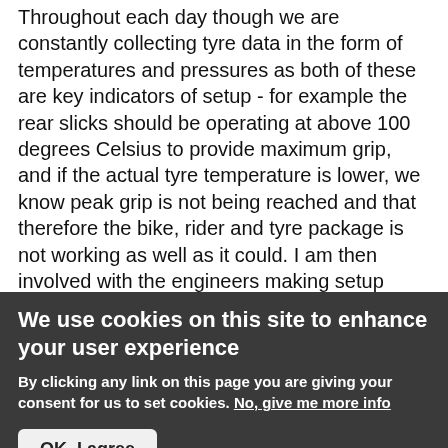Throughout each day though we are constantly collecting tyre data in the form of temperatures and pressures as both of these are key indicators of setup - for example the rear slicks should be operating at above 100 degrees Celsius to provide maximum grip, and if the actual tyre temperature is lower, we know peak grip is not being reached and that therefore the bike, rider and tyre package is not working as well as it could. I am then involved with the engineers making setup changes to try and achieve this optimum. In the years of tyre competition, tyre manufacturers would produce specific tyre compounds for each rider and bike, but now in single supply, Bridgestone must work closely with the teams to help them get the bikes working best on our
We use cookies on this site to enhance your user experience
By clicking any link on this page you are giving your consent for us to set cookies. No, give me more info
OK, I agree